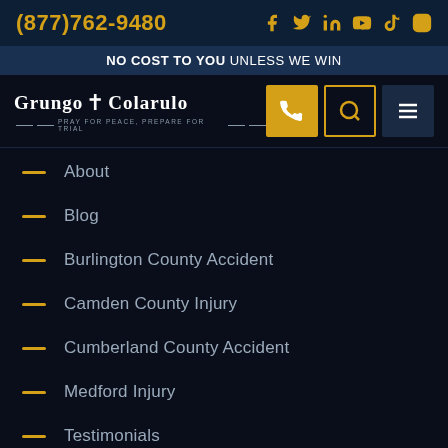(877)762-9480
NO COST TO YOU UNLESS WE WIN
[Figure (logo): Grungo Colarulo law firm logo with cross symbol and tagline 'Pray for Peace, Prepare for Trial']
About
Blog
Burlington County Accident
Camden County Injury
Cumberland County Accident
Medford Injury
Testimonials